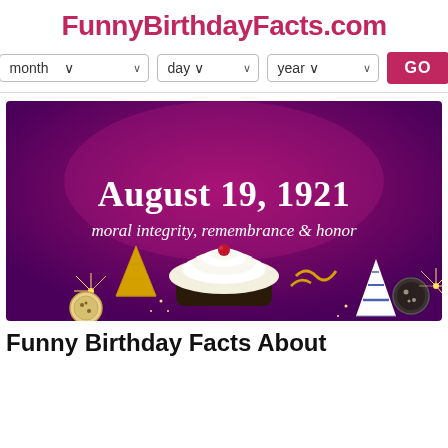FunnyBirthdayFacts.com
[Figure (screenshot): Navigation bar with month, day, year dropdowns and a pink GO button]
[Figure (illustration): Purple/magenta banner image with birthday decorations (cupcake, party hats, cookies, sparklers) and text reading 'August 19, 1921' and 'moral integrity, remembrance & honor']
Funny Birthday Facts About